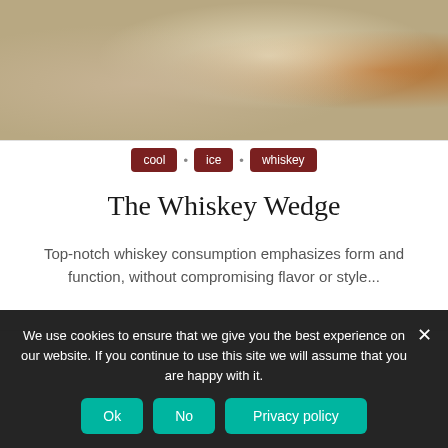[Figure (photo): Top photo showing whiskey drinks with ice in glasses and whiskey-related items, warm amber tones]
cool
ice
whiskey
The Whiskey Wedge
Top-notch whiskey consumption emphasizes form and function, without compromising flavor or style...
[Figure (photo): Bottom photo showing a glass whiskey decanter with a sphere shape and metal stopper, gray background]
We use cookies to ensure that we give you the best experience on our website. If you continue to use this site we will assume that you are happy with it.